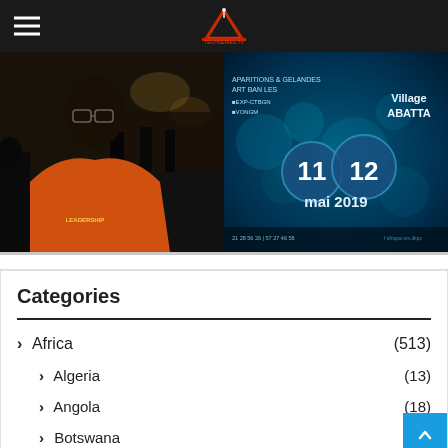Navigation header with hamburger menu and site logo
[Figure (photo): Man in orange shirt, nighttime outdoor setting]
[Figure (photo): Event poster: Village ABATTA, 11 12 mai 2019, teal/blue background with circular light effects]
Categories
Africa (513)
Algeria (13)
Angola (18)
Botswana
Burkina Faso (4)
Burundi (1)